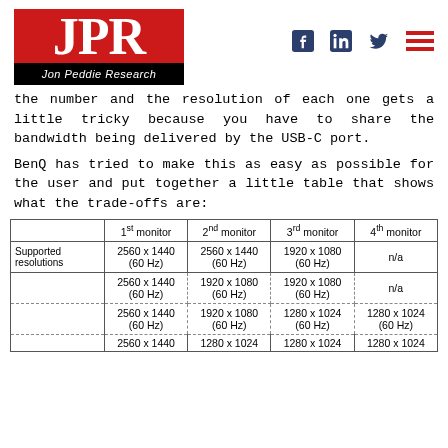JPR — Jon Peddie Research
the number and the resolution of each one gets a little tricky because you have to share the bandwidth being delivered by the USB-C port.
BenQ has tried to make this as easy as possible for the user and put together a little table that shows what the trade-offs are:
|  | 1st monitor | 2nd monitor | 3rd monitor | 4th monitor |
| --- | --- | --- | --- | --- |
| Supported resolutions | 2560 x 1440
(60 Hz) | 2560 x 1440
(60 Hz) | 1920 x 1080
(60 Hz) | n/a |
|  | 2560 x 1440
(60 Hz) | 1920 x 1080
(60 Hz) | 1920 x 1080
(60 Hz) | n/a |
|  | 2560 x 1440
(60 Hz) | 1920 x 1080
(60 Hz) | 1280 x 1024
(60 Hz) | 1280 x 1024
(60 Hz) |
|  | 2560 x 1440 | 1280 x 1024 | 1280 x 1024 | 1280 x 1024 |